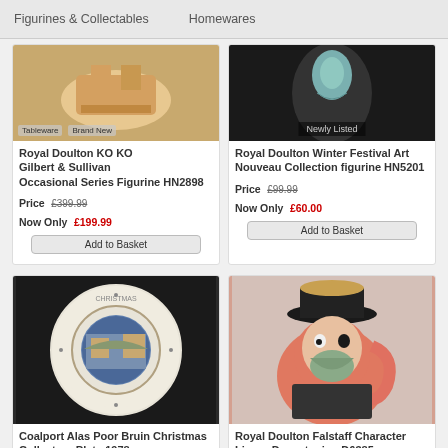Figurines & Collectables   Homewares
[Figure (photo): Partial product image top left - tableware figurine, Brand New label]
Royal Doulton KO KO Gilbert & Sullivan Occasional Series Figurine HN2898
Price £399.99 Now Only £199.99
Add to Basket
[Figure (photo): Royal Doulton Winter Festival Art Nouveau Collection figurine - dark background, Newly Listed label]
Royal Doulton Winter Festival Art Nouveau Collection figurine HN5201
Price £99.99 Now Only £60.00
Add to Basket
[Figure (photo): Coalport Alas Poor Bruin Christmas Collectors Plate 1978 - white plate with Christmas scene on black background]
Coalport Alas Poor Bruin Christmas Collectors Plate 1978
Price £6.99 Now Only £2.99
[Figure (photo): Royal Doulton Falstaff Character Liquer Decanter jug D6385 - pink ceramic character jug with black hat]
Royal Doulton Falstaff Character Liquer Decanter jug D6385
Price £26.99 Now Only £17.99